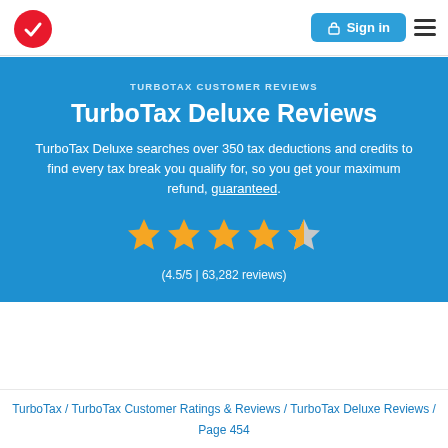[Figure (logo): TurboTax red circle logo with white checkmark]
Sign in
TURBOTAX CUSTOMER REVIEWS
TurboTax Deluxe Reviews
TurboTax Deluxe searches over 350 tax deductions and credits to find every tax break you qualify for, so you get your maximum refund, guaranteed.
[Figure (infographic): 4.5 out of 5 stars rating display with 4 full gold stars and 1 half gold/grey star]
(4.5/5 | 63,282 reviews)
TurboTax / TurboTax Customer Ratings & Reviews / TurboTax Deluxe Reviews / Page 454